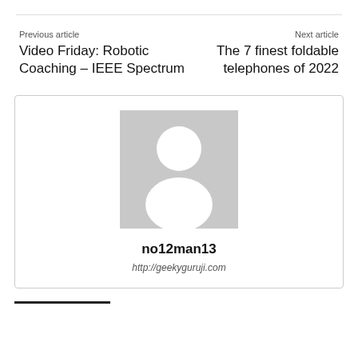Previous article
Video Friday: Robotic Coaching – IEEE Spectrum
Next article
The 7 finest foldable telephones of 2022
[Figure (illustration): Generic user avatar placeholder — grey square with white silhouette of a person (head circle and body shape)]
no12man13
http://geekyguruji.com